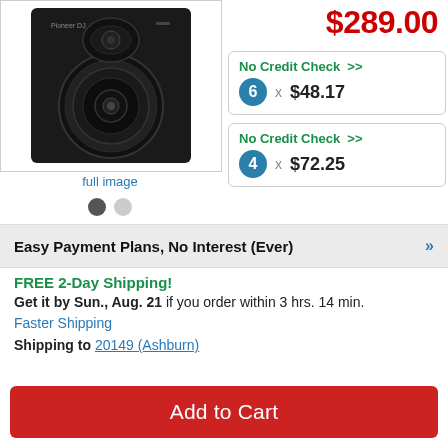[Figure (photo): Black studio monitor speaker with large woofer and tweeter]
full image
$289.00
No Credit Check >>  6 x $48.17
No Credit Check >>  4 x $72.25
Easy Payment Plans, No Interest (Ever)
FREE 2-Day Shipping!
Get it by Sun., Aug. 21 if you order within 3 hrs. 14 min.
Faster Shipping
Shipping to 20149 (Ashburn)
Add to Cart